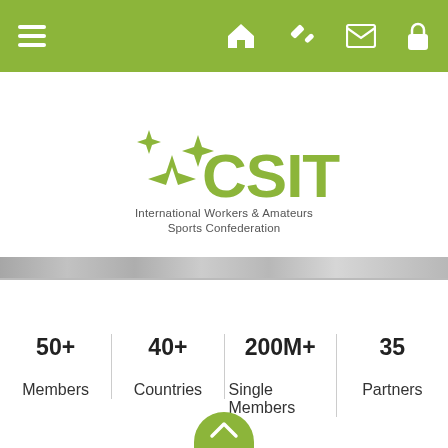Navigation bar with hamburger menu and icons
[Figure (logo): CSIT logo with star sparkles and text 'International Workers & Amateurs Sports Confederation']
50+
Members
40+
Countries
200M+
Single Members
35
Partners